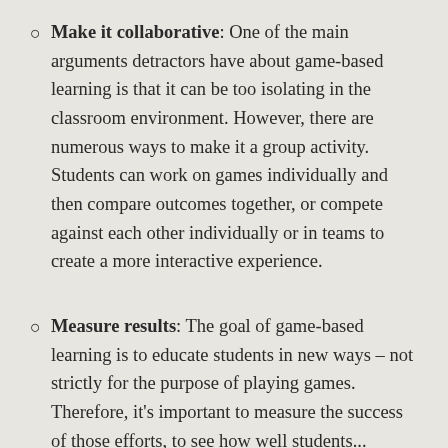Make it collaborative: One of the main arguments detractors have about game-based learning is that it can be too isolating in the classroom environment. However, there are numerous ways to make it a group activity. Students can work on games individually and then compare outcomes together, or compete against each other individually or in teams to create a more interactive experience.
Measure results: The goal of game-based learning is to educate students in new ways – not strictly for the purpose of playing games. Therefore, it's important to measure the success of those efforts, to see how well students...